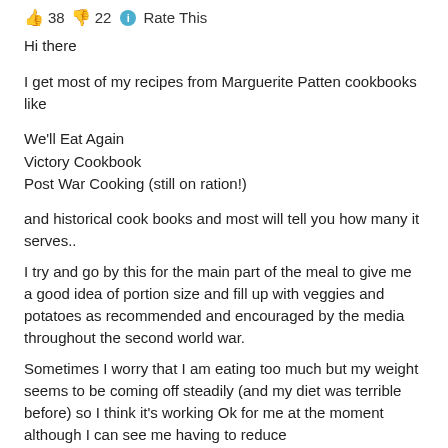👍 38 👎 22 ℹ Rate This
Hi there
I get most of my recipes from Marguerite Patten cookbooks like
We'll Eat Again
Victory Cookbook
Post War Cooking (still on ration!)
and historical cook books and most will tell you how many it serves..
I try and go by this for the main part of the meal to give me a good idea of portion size and fill up with veggies and potatoes as recommended and encouraged by the media throughout the second world war.
Sometimes I worry that I am eating too much but my weight seems to be coming off steadily (and my diet was terrible before) so I think it's working Ok for me at the moment although I can see me having to reduce